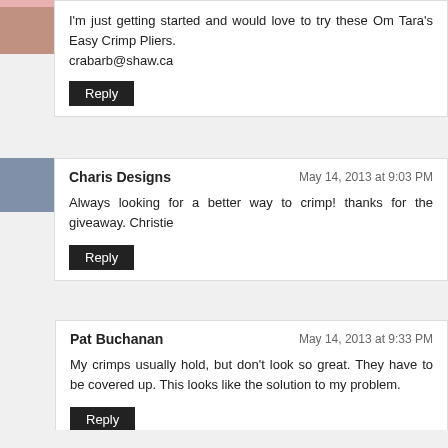I'm just getting started and would love to try these Om Tara's Easy Crimp Pliers.
crabarb@shaw.ca
Reply
Charis Designs — May 14, 2013 at 9:03 PM
Always looking for a better way to crimp! thanks for the giveaway. Christie
Reply
Pat Buchanan — May 14, 2013 at 9:33 PM
My crimps usually hold, but don't look so great. They have to be covered up. This looks like the solution to my problem.
Reply
Lily Ruth — May 15, 2013 at 7:03 AM